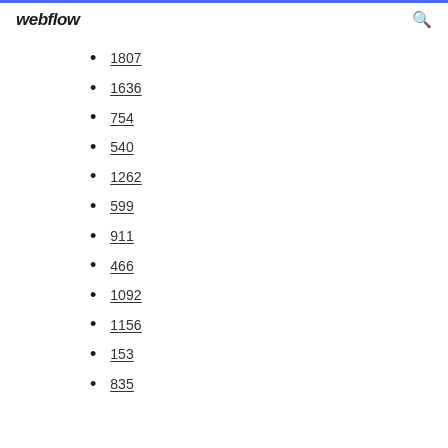webflow
1807
1636
754
540
1262
599
911
466
1092
1156
153
835